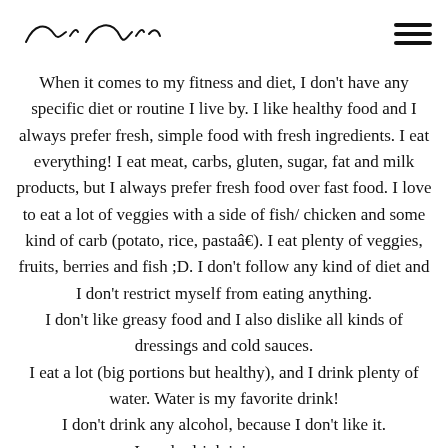[signature/logo] [hamburger menu]
When it comes to my fitness and diet, I don't have any specific diet or routine I live by. I like healthy food and I always prefer fresh, simple food with fresh ingredients. I eat everything! I eat meat, carbs, gluten, sugar, fat and milk products, but I always prefer fresh food over fast food. I love to eat a lot of veggies with a side of fish/ chicken and some kind of carb (potato, rice, pastaâ€). I eat plenty of veggies, fruits, berries and fish ;D. I don't follow any kind of diet and I don't restrict myself from eating anything.
I don't like greasy food and I also dislike all kinds of dressings and cold sauces.
I eat a lot (big portions but healthy), and I drink plenty of water. Water is my favorite drink!
I don't drink any alcohol, because I don't like it.
I rarely drink juice or pop.